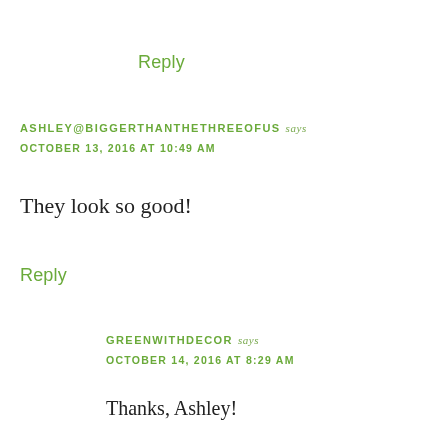Reply
ASHLEY@BIGGERTHANTHETHREEOFUS says
OCTOBER 13, 2016 AT 10:49 AM
They look so good!
Reply
GREENWITHDECOR says
OCTOBER 14, 2016 AT 8:29 AM
Thanks, Ashley!